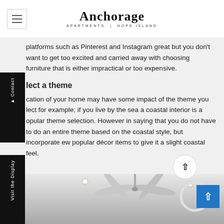Anchorage APARTMENTS | HOPE ISLAND
platforms such as Pinterest and Instagram great but you don't want to get too excited and carried away with choosing furniture that is either impractical or too expensive.
Select a theme
The location of your home may have some impact of the theme you select for example; if you live by the sea a coastal interior is a popular theme selection. However in saying that you do not have to do an entire theme based on the coastal style, but incorporate a few popular décor items to give it a slight coastal feel.
[Figure (photo): Interior photo showing a white ceiling with a ceiling fan and recessed lighting]